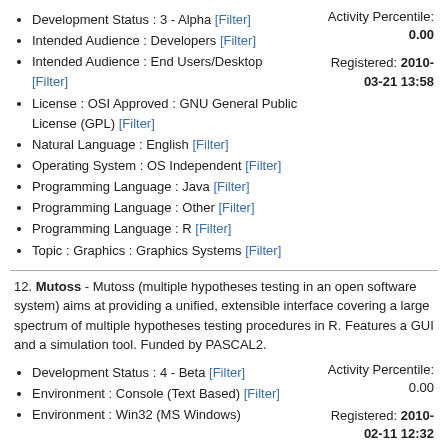Development Status : 3 - Alpha [Filter]
Intended Audience : Developers [Filter]
Intended Audience : End Users/Desktop [Filter]
License : OSI Approved : GNU General Public License (GPL) [Filter]
Natural Language : English [Filter]
Operating System : OS Independent [Filter]
Programming Language : Java [Filter]
Programming Language : Other [Filter]
Programming Language : R [Filter]
Topic : Graphics : Graphics Systems [Filter]
Activity Percentile: 0.00
Registered: 2010-03-21 13:58
12. Mutoss - Mutoss (multiple hypotheses testing in an open software system) aims at providing a unified, extensible interface covering a large spectrum of multiple hypotheses testing procedures in R. Features a GUI and a simulation tool. Funded by PASCAL2.
Development Status : 4 - Beta [Filter]
Environment : Console (Text Based) [Filter]
Environment : Win32 (MS Windows)
Activity Percentile: 0.00
Registered: 2010-02-11 12:32